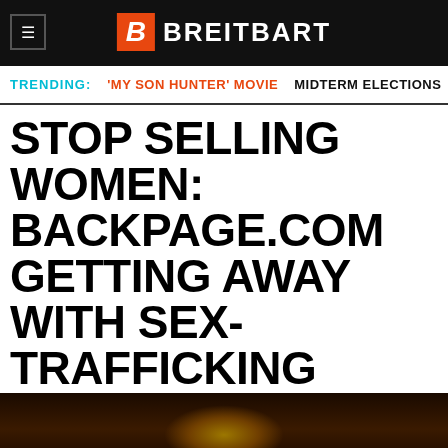BREITBART
TRENDING: 'MY SON HUNTER' MOVIE   MIDTERM ELECTIONS   TI >
STOP SELLING WOMEN: BACKPAGE.COM GETTING AWAY WITH SEX-TRAFFICKING
[Figure (photo): Dark background image, partially visible, showing a blurred figure with warm amber/orange tones]
By clicking "Accept All Cookies", you agree to the storing of cookies on your device to enhance site navigation, analyze site usage, and assist in our marketing efforts.
Cookies Settings   Accept All Cookies